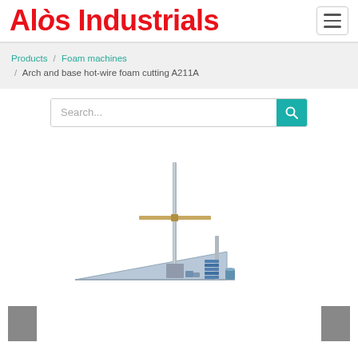Alòs Industrials
Products / Foam machines / Arch and base hot-wire foam cutting A211A
[Figure (screenshot): Search bar with teal/green search button on the right]
[Figure (photo): Product image of arch and base hot-wire foam cutting machine A211A, showing a vertical metal rod with a horizontal cross-piece and a triangular wedge base with screws and components]
[Figure (other): Left and right navigation arrow buttons (grey squares) for image carousel]